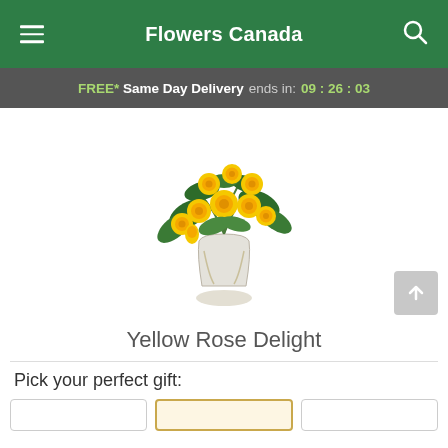Flowers Canada
FREE* Same Day Delivery ends in: 09 : 26 : 03
[Figure (photo): Yellow rose bouquet in a glass vase with green foliage, product photo for Yellow Rose Delight]
Yellow Rose Delight
Pick your perfect gift: